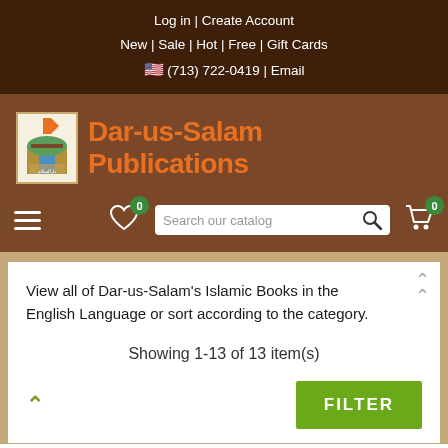Log in | Create Account
New | Sale | Hot | Free | Gift Cards
🇺🇸 (713) 722-0419 | Email
[Figure (logo): Dar-us-Salam Publications logo with building/arch graphic]
Dar-us-Salam Publications
View all of Dar-us-Salam's Islamic Books in the English Language or sort according to the category.
Showing 1-13 of 13 item(s)
FILTER